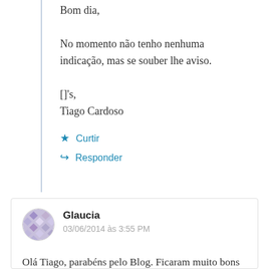Bom dia,
No momento não tenho nenhuma indicação, mas se souber lhe aviso.
[]'s,
Tiago Cardoso
★ Curtir
↪ Responder
Glaucia
03/06/2014 às 3:55 PM
Olá Tiago, parabéns pelo Blog. Ficaram muito bons os posts sobre processos. Estava procurando